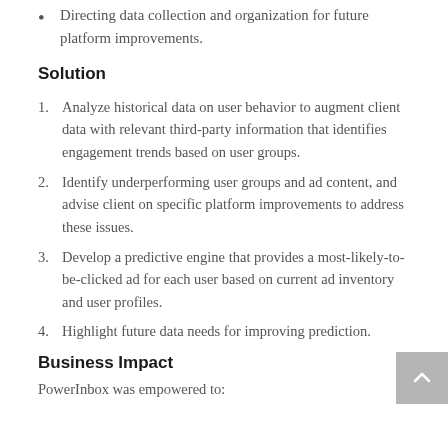Directing data collection and organization for future platform improvements.
Solution
1. Analyze historical data on user behavior to augment client data with relevant third-party information that identifies engagement trends based on user groups.
2. Identify underperforming user groups and ad content, and advise client on specific platform improvements to address these issues.
3. Develop a predictive engine that provides a most-likely-to-be-clicked ad for each user based on current ad inventory and user profiles.
4. Highlight future data needs for improving prediction.
Business Impact
PowerInbox was empowered to: